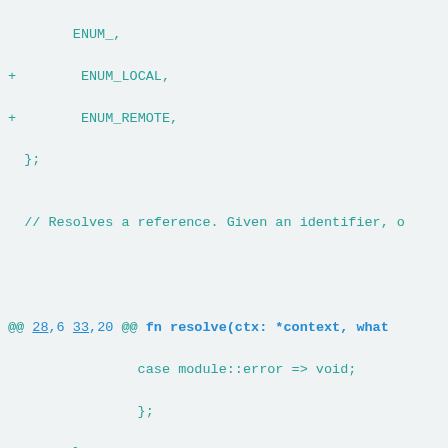Code diff showing enum and resolve function additions in source code